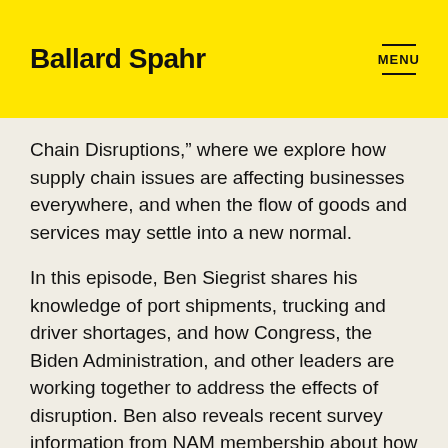Ballard Spahr | MENU
Chain Disruptions,” where we explore how supply chain issues are affecting businesses everywhere, and when the flow of goods and services may settle into a new normal.
In this episode, Ben Siegrist shares his knowledge of port shipments, trucking and driver shortages, and how Congress, the Biden Administration, and other leaders are working together to address the effects of disruption. Ben also reveals recent survey information from NAM membership about how long the disruption could continue and what the future may hold.
Brandon Sullivan, Ballard Spahr Partner, and the